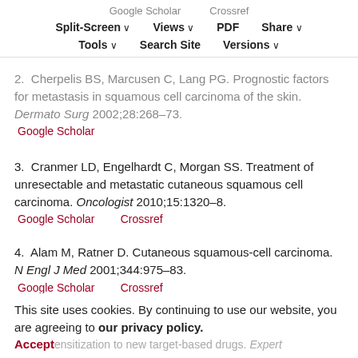Google Scholar   Crossref   Split-Screen   Views   PDF   Share   Tools   Search Site   Versions
2.  Cherpelis BS, Marcusen C, Lang PG. Prognostic factors for metastasis in squamous cell carcinoma of the skin. Dermato Surg 2002;28:268–73.
Google Scholar
3.  Cranmer LD, Engelhardt C, Morgan SS. Treatment of unresectable and metastatic cutaneous squamous cell carcinoma. Oncologist 2010;15:1320–8.
Google Scholar   Crossref
4.  Alam M, Ratner D. Cutaneous squamous-cell carcinoma. N Engl J Med 2001;344:975–83.
Google Scholar   Crossref
5.  Franco R, Nicoletti G, Lombardi A, Di Domenico M, ...
This site uses cookies. By continuing to use our website, you are agreeing to our privacy policy. Accept